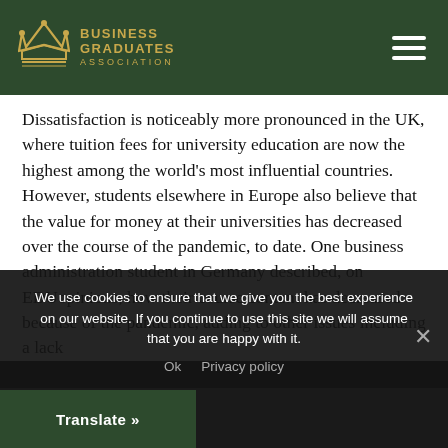Business Graduates Association
Dissatisfaction is noticeably more pronounced in the UK, where tuition fees for university education are now the highest among the world's most influential countries. However, students elsewhere in Europe also believe that the value for money at their universities has decreased over the course of the pandemic, to date. One business administration student in Germany described, on EDUopinions, how their course content has decreased because of the pandemic, adding to other issues including a lack
We use cookies to ensure that we give you the best experience on our website. If you continue to use this site we will assume that you are happy with it.
Ok   Privacy policy
Translate »